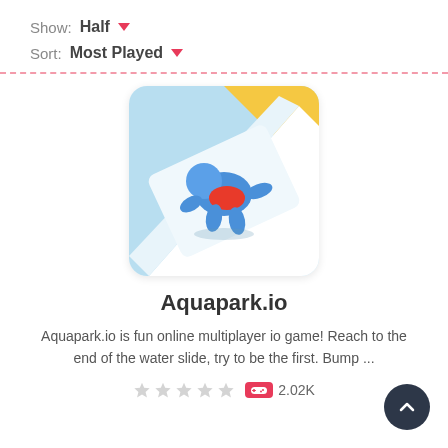Show: Half ▾
Sort: Most Played ▾
[Figure (screenshot): Game thumbnail for Aquapark.io showing a blue cartoon character on a water slide with yellow, white, and light blue background]
Aquapark.io
Aquapark.io is fun online multiplayer io game! Reach to the end of the water slide, try to be the first. Bump ...
☆☆☆☆☆  🎮 2.02K